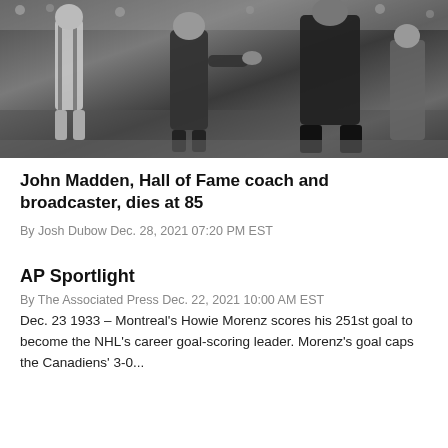[Figure (photo): Black and white photograph of football players on field, John Madden era]
John Madden, Hall of Fame coach and broadcaster, dies at 85
By Josh Dubow Dec. 28, 2021 07:20 PM EST
AP Sportlight
By The Associated Press Dec. 22, 2021 10:00 AM EST
Dec. 23 1933 – Montreal's Howie Morenz scores his 251st goal to become the NHL's career goal-scoring leader. Morenz's goal caps the Canadiens' 3-0...